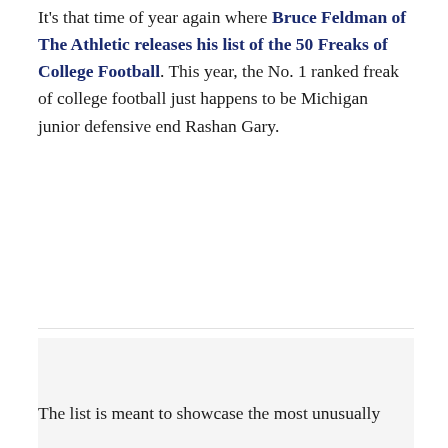It's that time of year again where Bruce Feldman of The Athletic releases his list of the 50 Freaks of College Football. This year, the No. 1 ranked freak of college football just happens to be Michigan junior defensive end Rashan Gary.
[Figure (other): Advertisement placeholder area with 'AD' label]
The list is meant to showcase the most unusually